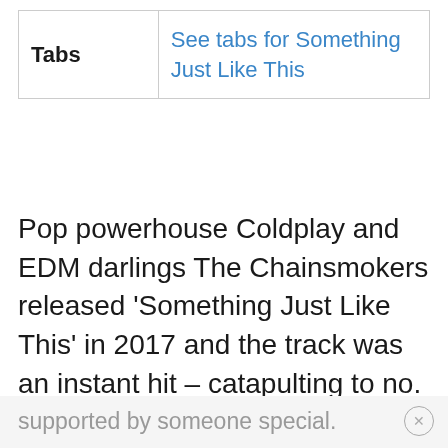|  |  |
| --- | --- |
| Tabs | See tabs for Something Just Like This |
Pop powerhouse Coldplay and EDM darlings The Chainsmokers released 'Something Just Like This' in 2017 and the track was an instant hit – catapulting to no. 2 on the Billboard charts and staying in the top 10 for weeks on end! The track has a universal appeal both in terms of its easygoing melody and topic – how any person can feel like a superhero if they're loved and
supported by someone special.